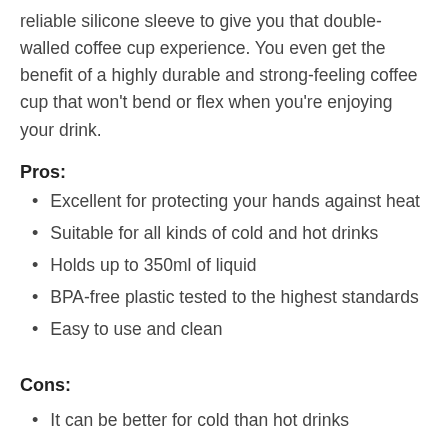reliable silicone sleeve to give you that double-walled coffee cup experience. You even get the benefit of a highly durable and strong-feeling coffee cup that won't bend or flex when you're enjoying your drink.
Pros:
Excellent for protecting your hands against heat
Suitable for all kinds of cold and hot drinks
Holds up to 350ml of liquid
BPA-free plastic tested to the highest standards
Easy to use and clean
Cons:
It can be better for cold than hot drinks